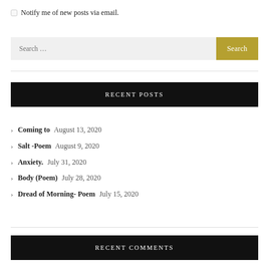Notify me of new posts via email.
Search ...
RECENT POSTS
Coming to August 13, 2020
Salt -Poem August 9, 2020
Anxiety. July 31, 2020
Body (Poem) July 28, 2020
Dread of Morning- Poem July 15, 2020
RECENT COMMENTS